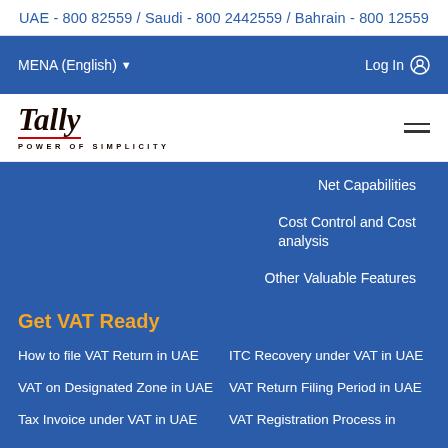UAE - 800 82559 / Saudi - 800 2442559 / Bahrain - 800 12559
MENA (English)   Log In
[Figure (logo): Tally logo with script text 'Tally' and tagline 'POWER OF SIMPLICITY']
Net Capabilities
Cost Control and Cost analysis
Other Valuable Features
Get VAT Ready
How to file VAT Return in UAE
ITC Recovery under VAT in UAE
VAT on Designated Zone in UAE
VAT Return Filing Period in UAE
Tax Invoice under VAT in UAE
VAT Registration Process in